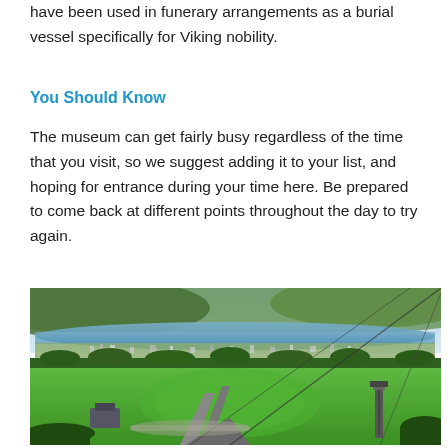have been used in funerary arrangements as a burial vessel specifically for Viking nobility.
You Should Know
The museum can get fairly busy regardless of the time that you visit, so we suggest adding it to your list, and hoping for entrance during your time here. Be prepared to come back at different points throughout the day to try again.
[Figure (photo): Aerial view of a ski jump venue and surrounding city, with a fjord and green hills in the background. A large green field surrounds the ski jump ramp structure, with cable car lines visible and a tower on the right.]